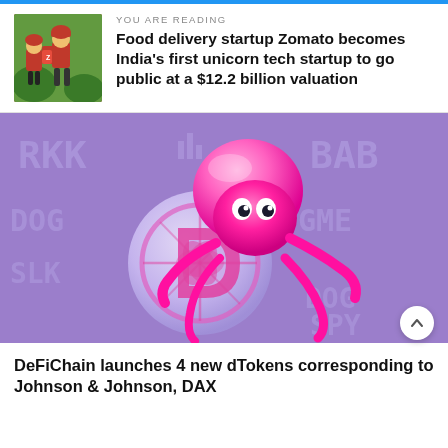YOU ARE READING
Food delivery startup Zomato becomes India's first unicorn tech startup to go public at a $12.2 billion valuation
[Figure (illustration): Pink jellyfish-like cartoon mascot holding a DeFiChain logo coin, on a purple background with ticker symbols like RKK, BAB, GME, DOG]
DeFiChain launches 4 new dTokens corresponding to Johnson & Johnson, DAX